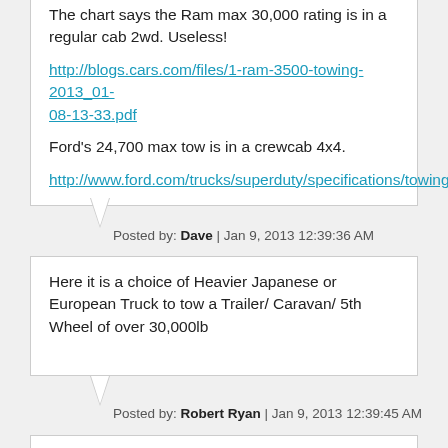The chart says the Ram max 30,000 rating is in a regular cab 2wd. Useless!
http://blogs.cars.com/files/1-ram-3500-towing-2013_01-08-13-33.pdf
Ford's 24,700 max tow is in a crewcab 4x4.
http://www.ford.com/trucks/superduty/specifications/towing
Posted by: Dave | Jan 9, 2013 12:39:36 AM
Here it is a choice of Heavier Japanese or European Truck to tow a Trailer/ Caravan/ 5th Wheel of over 30,000lb
Posted by: Robert Ryan | Jan 9, 2013 12:39:45 AM
@Denver Mike: It sure wouldn't be one with single rear tires....as you mention....
Posted by: TRX4 Tom | Jan 9, 2013 12:40:02 AM